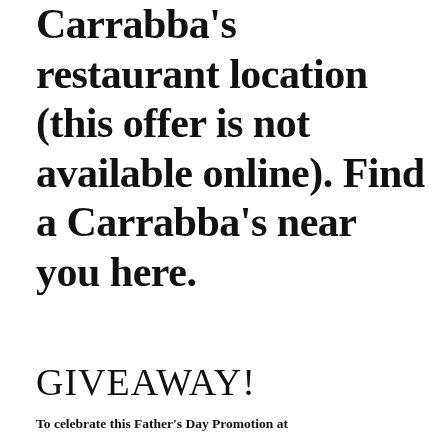Carrabba’s restaurant location (this offer is not available online). Find a Carrabba’s near you here.
GIVEAWAY!
To celebrate this Father’s Day Promotion at